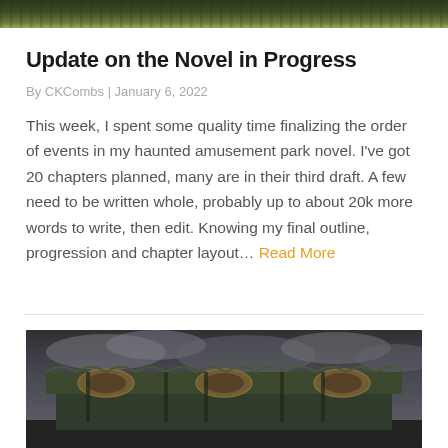[Figure (photo): Top portion of a dark image, appears to be vegetation or a dark outdoor scene]
Update on the Novel in Progress
By CKCombs | January 6, 2022
This week, I spent some quality time finalizing the order of events in my haunted amusement park novel. I've got 20 chapters planned, many are in their third draft. A few need to be written whole, probably up to about 20k more words to write, then edit. Knowing my final outline, progression and chapter layout… Read More
[Figure (photo): Photo of an abandoned or old carousel with ornate decorative panels, under a dark cloudy dramatic sky]